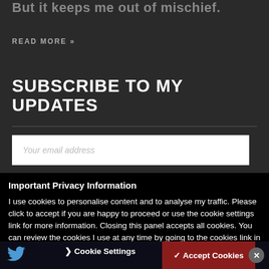But it keeps me out of mischief.
READ MORE »
SUBSCRIBE TO MY UPDATES
Your email address
SUBSCRIBE
Important Privacy Information
I use cookies to personalise content and to analyse my traffic. Please click to accept if you are happy to proceed or use the cookie settings link for more information. Closing this panel accepts all cookies. You can review the cookies I use at any time by going to the cookies link in the main menu.
Cookie Settings
✓ Accept Cookies
✕